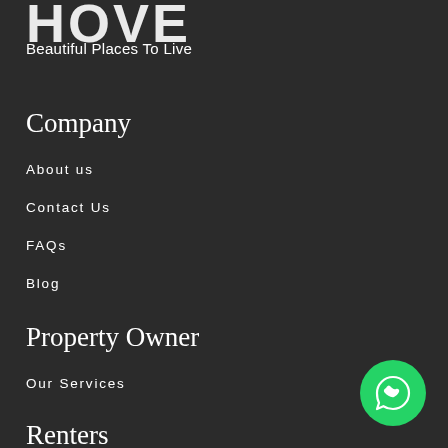Beautiful Places To Live
Company
About us
Contact Us
FAQs
Blog
Property Owner
Our Services
Renters
[Figure (illustration): WhatsApp contact button (green circle with white speech bubble icon) in bottom-right corner]